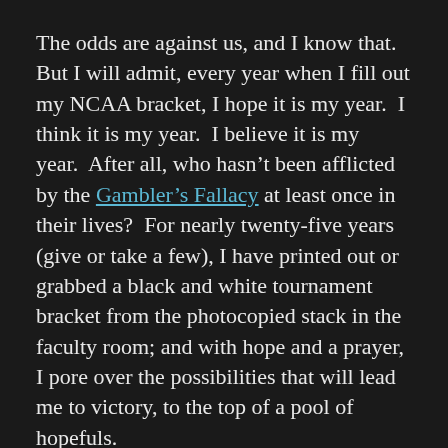The odds are against us, and I know that.  But I will admit, every year when I fill out my NCAA bracket, I hope it is my year.  I think it is my year.  I believe it is my year.  After all, who hasn't been afflicted by the Gambler's Fallacy at least once in their lives?  For nearly twenty-five years (give or take a few), I have printed out or grabbed a black and white tournament bracket from the photocopied stack in the faculty room; and with hope and a prayer, I pore over the possibilities that will lead me to victory, to the top of a pool of hopefuls.
No, I do not predict game outcomes based on any real knowledge, as time to actually watch much regular season play or develop any